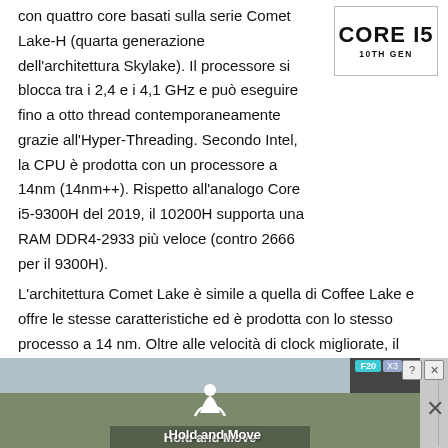[Figure (logo): Intel Core i5 10th Gen badge logo in top right corner]
con quattro core basati sulla serie Comet Lake-H (quarta generazione dell'architettura Skylake). Il processore si blocca tra i 2,4 e i 4,1 GHz e può eseguire fino a otto thread contemporaneamente grazie all'Hyper-Threading. Secondo Intel, la CPU è prodotta con un processore a 14nm (14nm++). Rispetto all'analogo Core i5-9300H del 2019, il 10200H supporta una RAM DDR4-2933 più veloce (contro 2666 per il 9300H).
L'architettura Comet Lake è simile a quella di Coffee Lake e offre le stesse caratteristiche ed è prodotta con lo stesso processo a 14 nm. Oltre alle velocità di clock migliorate, il controllore di memoria ora supporta anche la più veloce DDR4-2933 RAM. Maggiori informazioni su
[Figure (screenshot): Advertisement banner at the bottom showing a mobile app called 'Hold and Move' with a dark outdoor background and app store icons]